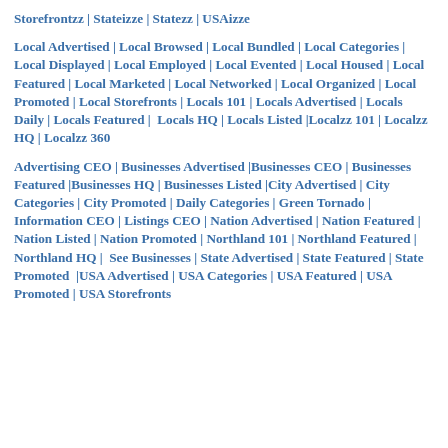Storefrontzz | Stateizze | Statezz | USAizze
Local Advertised | Local Browsed | Local Bundled | Local Categories | Local Displayed | Local Employed | Local Evented | Local Housed | Local Featured | Local Marketed | Local Networked | Local Organized | Local Promoted | Local Storefronts | Locals 101 | Locals Advertised | Locals Daily | Locals Featured | Locals HQ | Locals Listed |Localzz 101 | Localzz HQ | Localzz 360
Advertising CEO | Businesses Advertised |Businesses CEO | Businesses Featured |Businesses HQ | Businesses Listed |City Advertised | City Categories | City Promoted | Daily Categories | Green Tornado | Information CEO | Listings CEO | Nation Advertised | Nation Featured | Nation Listed | Nation Promoted | Northland 101 | Northland Featured | Northland HQ | See Businesses | State Advertised | State Featured | State Promoted |USA Advertised | USA Categories | USA Featured | USA Promoted | USA Storefronts